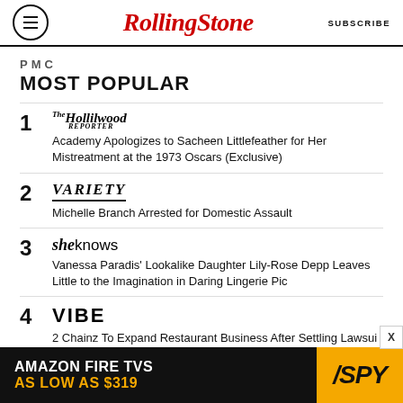Rolling Stone | SUBSCRIBE
PMC
MOST POPULAR
1 The Hollywood Reporter — Academy Apologizes to Sacheen Littlefeather for Her Mistreatment at the 1973 Oscars (Exclusive)
2 Variety — Michelle Branch Arrested for Domestic Assault
3 SheKnows — Vanessa Paradis' Lookalike Daughter Lily-Rose Depp Leaves Little to the Imagination in Daring Lingerie Pic
4 VIBE — 2 Chainz To Expand Restaurant Business After Settling Lawsui
[Figure (other): Amazon Fire TVs advertisement banner — 'AMAZON FIRE TVS AS LOW AS $319' with SPY logo]